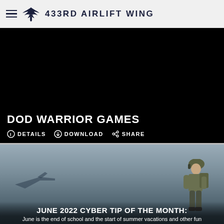433RD AIRLIFT WING
[Figure (screenshot): Black video player area showing DOD Warrior Games with details, download, and share controls]
DOD WARRIOR GAMES
DETAILS  DOWNLOAD  SHARE
[Figure (photo): Military soldier in combat gear standing on airfield tarmac with aircraft and buildings in background, misty/hazy atmosphere]
JUNE 2022 CYBER TIP OF THE MONTH:
June is the end of school and the start of summer vacations and other fun